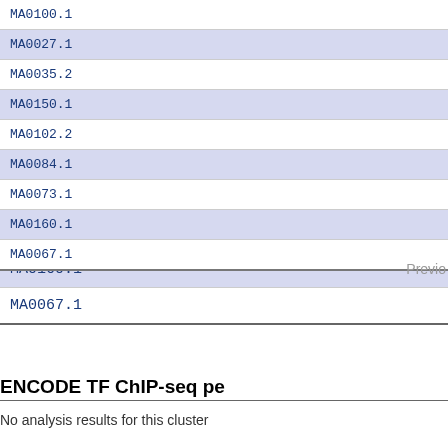| Motif ID |
| --- |
| MA0100.1 |
| MA0027.1 |
| MA0035.2 |
| MA0150.1 |
| MA0102.2 |
| MA0084.1 |
| MA0073.1 |
| MA0160.1 |
| MA0067.1 |
Previous
ENCODE TF ChIP-seq pe
No analysis results for this cluster